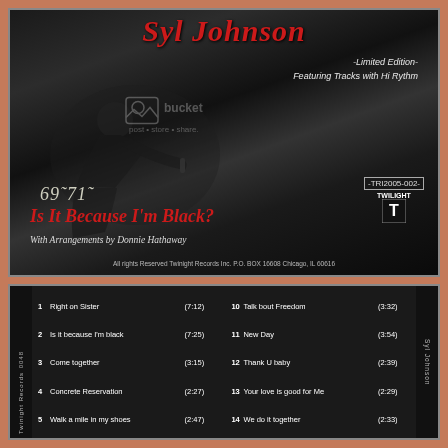[Figure (photo): Album cover for Syl Johnson 'Is It Because I'm Black?' Limited Edition, featuring a black and white photo of a performer, with Photobucket watermark overlay. Black background with red artist name at top, red album title, year 69-71, catalog number TRI2005-002, Twilight Records logo, arrangement credit to Donnie Hathaway.]
[Figure (photo): Back/spine of CD case showing track listing for Syl Johnson album with 14+ tracks including Right on Sister, Is it because I'm black, Come together, Concrete Reservation, Walk a mile in my shoes, Talk bout Freedom, New Day, Thank U baby, Your love is good for Me, We do it together, etc. with track durations. Twilight Records label on left spine, Syl Johnson on right spine.]